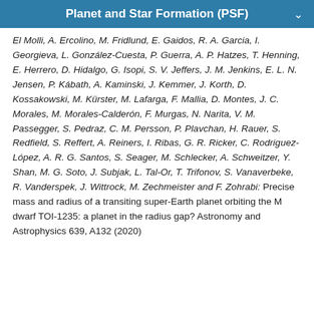Planet and Star Formation (PSF)
El Molli, A. Ercolino, M. Fridlund, E. Gaidos, R. A. Garcia, I. Georgieva, L. González-Cuesta, P. Guerra, A. P. Hatzes, T. Henning, E. Herrero, D. Hidalgo, G. Isopi, S. V. Jeffers, J. M. Jenkins, E. L. N. Jensen, P. Kábath, A. Kaminski, J. Kemmer, J. Korth, D. Kossakowski, M. Kürster, M. Lafarga, F. Mallia, D. Montes, J. C. Morales, M. Morales-Calderón, F. Murgas, N. Narita, V. M. Passegger, S. Pedraz, C. M. Persson, P. Plavchan, H. Rauer, S. Redfield, S. Reffert, A. Reiners, I. Ribas, G. R. Ricker, C. Rodriguez-López, A. R. G. Santos, S. Seager, M. Schlecker, A. Schweitzer, Y. Shan, M. G. Soto, J. Subjak, L. Tal-Or, T. Trifonov, S. Vanaverbeke, R. Vanderspek, J. Wittrock, M. Zechmeister and F. Zohrabi: Precise mass and radius of a transiting super-Earth planet orbiting the M dwarf TOI-1235: a planet in the radius gap? Astronomy and Astrophysics 639, A132 (2020)